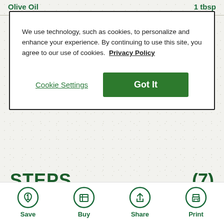Olive Oil — 1 tbsp
We use technology, such as cookies, to personalize and enhance your experience. By continuing to use this site, you agree to our use of cookies. Privacy Policy
Cookie Settings
Got It
STEPS (7)
For the Pickled Cherry Peppers and Jalapeños:
Save Buy Share Print